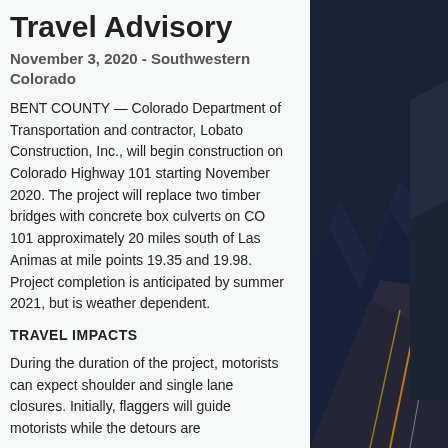Travel Advisory
November 3, 2020 - Southwestern Colorado
BENT COUNTY — Colorado Department of Transportation and contractor, Lobato Construction, Inc., will begin construction on Colorado Highway 101 starting November 2020. The project will replace two timber bridges with concrete box culverts on CO 101 approximately 20 miles south of Las Animas at mile points 19.35 and 19.98. Project completion is anticipated by summer 2021, but is weather dependent.
TRAVEL IMPACTS
During the duration of the project, motorists can expect shoulder and single lane closures. Initially, flaggers will guide motorists while the detours are